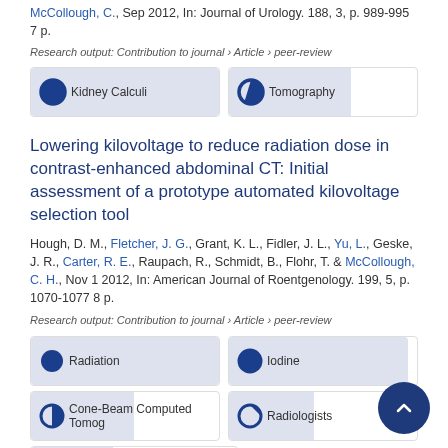McCollough, C., Sep 2012, In: Journal of Urology. 188, 3, p. 989-995 7 p.
Research output: Contribution to journal › Article › peer-review
[Figure (infographic): Two keyword badges: Kidney Calculi (100%) and Tomography (65%)]
Lowering kilovoltage to reduce radiation dose in contrast-enhanced abdominal CT: Initial assessment of a prototype automated kilovoltage selection tool
Hough, D. M., Fletcher, J. G., Grant, K. L., Fidler, J. L., Yu, L., Geske, J. R., Carter, R. E., Raupach, R., Schmidt, B., Flohr, T. & McCollough, C. H., Nov 1 2012, In: American Journal of Roentgenology. 199, 5, p. 1070-1077 8 p.
Research output: Contribution to journal › Article › peer-review
[Figure (infographic): Five keyword badges: Radiation (100%), Iodine (95%), Cone-Beam Computed Tomog (55%), Radiologists (45%), Noise (40%)]